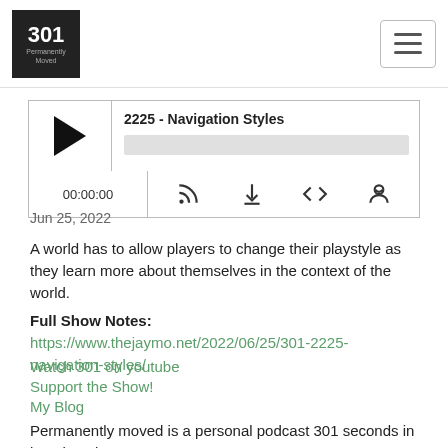301 Permanently Moved — Navigation menu
[Figure (screenshot): Podcast audio player widget showing episode 2225 - Navigation Styles with play button, progress bar, time display 00:00:00, and RSS/download/embed/share icons]
Jun 25, 2022
A world has to allow players to change their playstyle as they learn more about themselves in the context of the world.
Full Show Notes: https://www.thejaymo.net/2022/06/25/301-2225-navigation-styles/
Watch 301 on youtube
Support the Show!
My Blog
Permanently moved is a personal podcast 301 seconds in length, written...
Read More